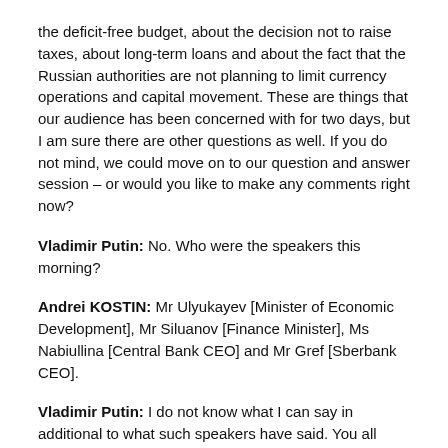the deficit-free budget, about the decision not to raise taxes, about long-term loans and about the fact that the Russian authorities are not planning to limit currency operations and capital movement. These are things that our audience has been concerned with for two days, but I am sure there are other questions as well. If you do not mind, we could move on to our question and answer session – or would you like to make any comments right now?
Vladimir Putin: No. Who were the speakers this morning?
Andrei KOSTIN: Mr Ulyukayev [Minister of Economic Development], Mr Siluanov [Finance Minister], Ms Nabiullina [Central Bank CEO] and Mr Gref [Sberbank CEO].
Vladimir Putin: I do not know what I can say in additional to what such speakers have said. You all know them well, they are the ones who both formulate and implement Russia's economic policy, and they have been doing this for many years.